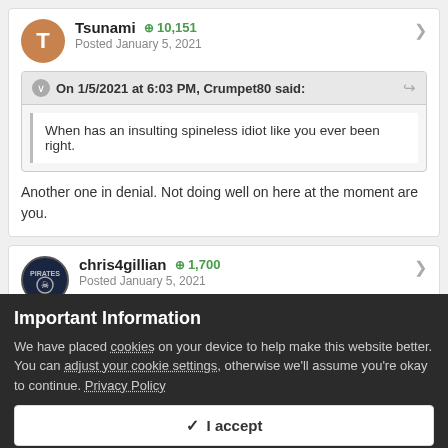Tsunami ⊕ 10,151 Posted January 5, 2021
On 1/5/2021 at 6:03 PM, Crumpet80 said:
When has an insulting spineless idiot like you ever been right.
Another one in denial. Not doing well on here at the moment are you.
chris4gillian ⊕ 1,700 Posted January 5, 2021
Important Information
We have placed cookies on your device to help make this website better. You can adjust your cookie settings, otherwise we'll assume you're okay to continue. Privacy Policy
✓  I accept